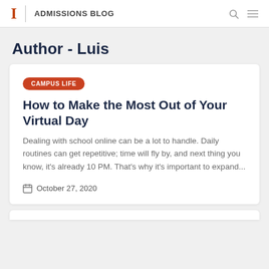ADMISSIONS BLOG
Author - Luis
CAMPUS LIFE
How to Make the Most Out of Your Virtual Day
Dealing with school online can be a lot to handle. Daily routines can get repetitive; time will fly by, and next thing you know, it's already 10 PM. That's why it's important to expand...
October 27, 2020